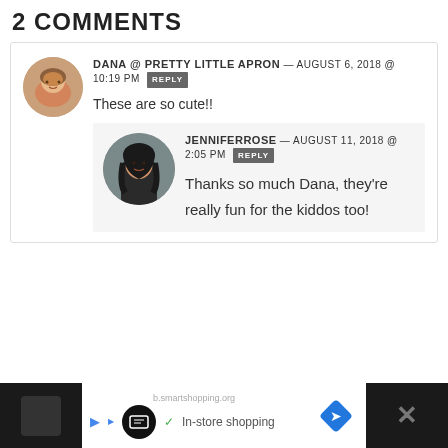2 COMMENTS
DANA @ PRETTY LITTLE APRON — AUGUST 6, 2018 @ 10:19 PM REPLY
These are so cute!!
JENNIFERROSE — AUGUST 11, 2018 @ 2:05 PM REPLY
Thanks so much Dana, they're really fun for the kiddos too!
[Figure (other): Ad bar at bottom with navigation icons and In-store shopping text]